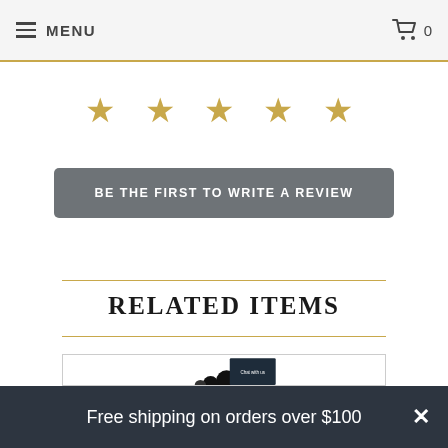MENU  0
[Figure (other): Five gold star rating icons]
BE THE FIRST TO WRITE A REVIEW
RELATED ITEMS
[Figure (other): Product card with circular dark shapes and Chat with us overlay]
Free shipping on orders over $100